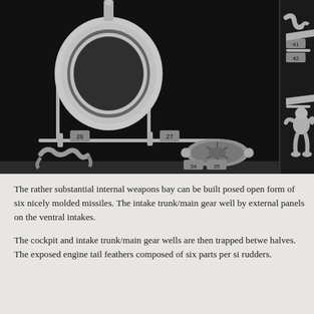[Figure (photo): Close-up photograph of gray plastic model kit sprue parts on a dark background. Parts are numbered and include large curved engine nacelle halves (parts 26, 27), small detail parts (41, 42), landing gear legs, missiles or weapons (parts 34, 35), and pilot figure parts. The sprue runners are light gray plastic against a very dark/black background.]
The rather substantial internal weapons bay can be built posed open form of six nicely molded missiles. The intake trunk/main gear well by external panels on the ventral intakes.
The cockpit and intake trunk/main gear wells are then trapped betwe halves. The exposed engine tail feathers composed of six parts per si rudders.